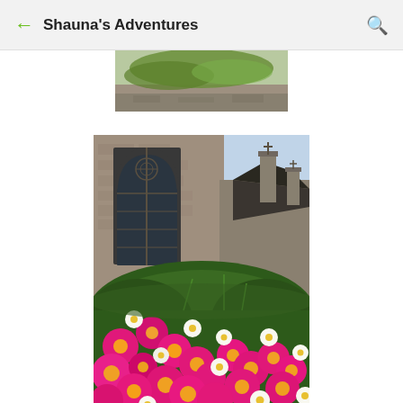Shauna's Adventures
[Figure (photo): Partial view of a garden or outdoor scene, cropped at top, showing greenery and stone]
[Figure (photo): Gothic church with tall arched stained glass window and ornate stonework, surrounded by colorful pink and white flowers in the foreground, photographed from below looking up]